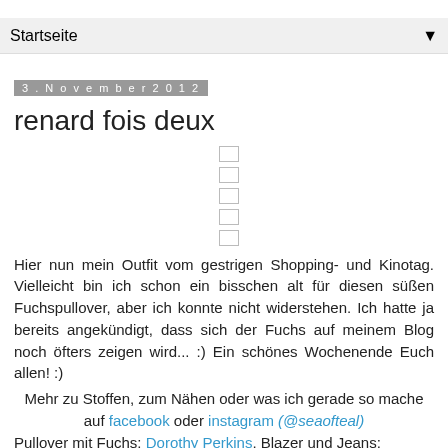Startseite
3. November 2012
renard fois deux
[Figure (illustration): Placeholder image icons (5 small rectangles stacked vertically, representing a loading or missing image)]
Hier nun mein Outfit vom gestrigen Shopping- und Kinotag. Vielleicht bin ich schon ein bisschen alt für diesen süßen Fuchspullover, aber ich konnte nicht widerstehen. Ich hatte ja bereits angekündigt, dass sich der Fuchs auf meinem Blog noch öfters zeigen wird... :) Ein schönes Wochenende Euch allen! :)
Mehr zu Stoffen, zum Nähen oder was ich gerade so mache auf facebook oder instagram (@seaofteal)
Pullover mit Fuchs: Dorothy Perkins, Blazer und Jeans: